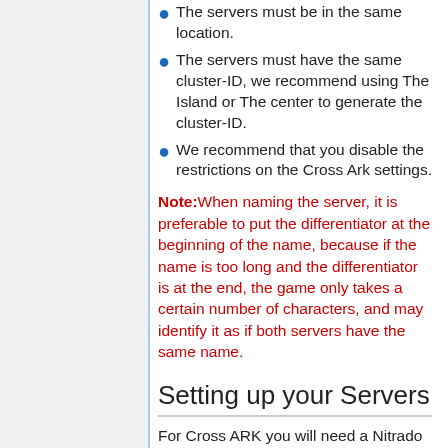The servers must be in the same location.
The servers must have the same cluster-ID, we recommend using The Island or The center to generate the cluster-ID.
We recommend that you disable the restrictions on the Cross Ark settings.
Note: When naming the server, it is preferable to put the differentiator at the beginning of the name, because if the name is too long and the differentiator is at the end, the game only takes a certain number of characters, and may identify it as if both servers have the same name.
Setting up your Servers
For Cross ARK you will need a Nitrado server for each map you want to use.